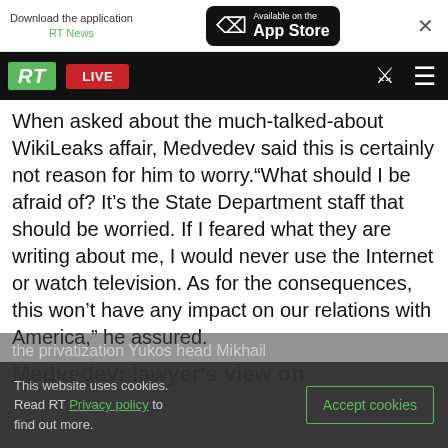[Figure (screenshot): App download banner with RT News app store badge and close button]
[Figure (screenshot): RT website navigation bar with green RT logo, red LIVE button, search icon, and hamburger menu]
When asked about the much-talked-about WikiLeaks affair, Medvedev said this is certainly not reason for him to worry. "What should I be afraid of? It's the State Department staff that should be worried. If I feared what they are writing about me, I would never use the Internet or watch television. As for the consequences, this won't have any impact on our relations with America," he assured.
Medvedev: lawyer's view on
the privatization Yukos head Mikhail
This website uses cookies. Read RT Privacy policy to find out more.
Accept cookies